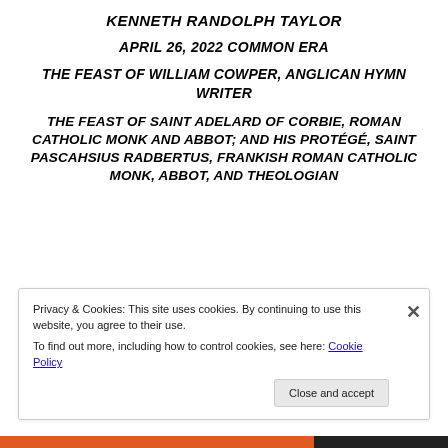KENNETH RANDOLPH TAYLOR
APRIL 26, 2022 COMMON ERA
THE FEAST OF WILLIAM COWPER, ANGLICAN HYMN WRITER
THE FEAST OF SAINT ADELARD OF CORBIE, ROMAN CATHOLIC MONK AND ABBOT; AND HIS PROTÉGÉ, SAINT PASCAHSIUS RADBERTUS, FRANKISH ROMAN CATHOLIC MONK, ABBOT, AND THEOLOGIAN
Privacy & Cookies: This site uses cookies. By continuing to use this website, you agree to their use. To find out more, including how to control cookies, see here: Cookie Policy
Close and accept